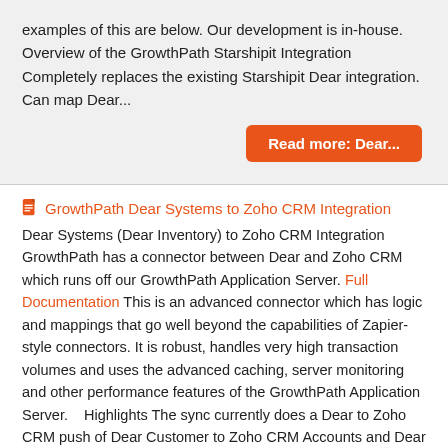examples of this are below. Our development is in-house. Overview of the GrowthPath Starshipit Integration Completely replaces the existing Starshipit Dear integration. Can map Dear...
Read more: Dear...
GrowthPath Dear Systems to Zoho CRM Integration
Dear Systems (Dear Inventory) to Zoho CRM Integration GrowthPath has a connector between Dear and Zoho CRM which runs off our GrowthPath Application Server. Full Documentation This is an advanced connector which has logic and mappings that go well beyond the capabilities of Zapier-style connectors. It is robust, handles very high transaction volumes and uses the advanced caching, server monitoring and other performance features of the GrowthPath Application Server.    Highlights The sync currently does a Dear to Zoho CRM push of Dear Customer to Zoho CRM Accounts and Dear Contacts to Zoho CRM Contacts. All Contacts belong to a Customer on the Dear side, and are therefore assigned to that Zoho Account. If you have custom fields in your Zoho Accounts, Contacts or Deals, we can write logic to populate them based